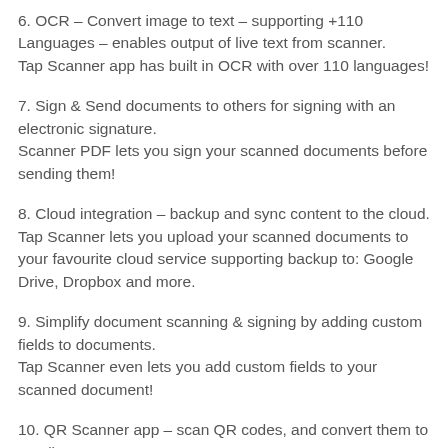6. OCR – Convert image to text – supporting +110 Languages – enables output of live text from scanner.
Tap Scanner app has built in OCR with over 110 languages!
7. Sign & Send documents to others for signing with an electronic signature.
Scanner PDF lets you sign your scanned documents before sending them!
8. Cloud integration – backup and sync content to the cloud.
Tap Scanner lets you upload your scanned documents to your favourite cloud service supporting backup to: Google Drive, Dropbox and more.
9. Simplify document scanning & signing by adding custom fields to documents.
Tap Scanner even lets you add custom fields to your scanned document!
10. QR Scanner app – scan QR codes, and convert them to email, text